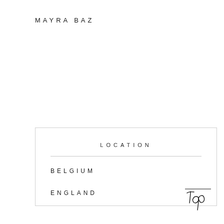MAYRA BAZ
LOCATION
BELGIUM
ENGLAND
[Figure (illustration): Handwritten cursive script reading 'Top' or 'Lop' as a decorative logo mark]